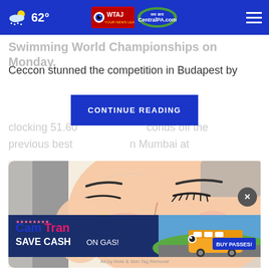62° WTAJ CentralPA.com
Swimming World Championships on Monday.
Ceccon stunned the competition in Budapest by clocking 51.60 seconds off the previous best in Mumbai at
[Figure (illustration): Illustration of a woman applying a skincare product to her face with a cotton pad]
[Figure (other): CamTran advertisement: Save Cash on Gas! Buy Passes!]